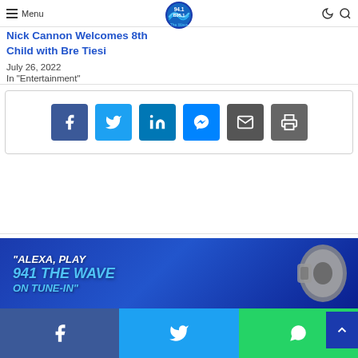Menu | 94.1 B 95.1 The Wave logo
Nick Cannon Welcomes 8th Child with Bre Tiesi
July 26, 2022
In "Entertainment"
[Figure (other): Social share buttons: Facebook, Twitter, LinkedIn, Messenger, Email, Print]
[Figure (other): Banner ad: "Alexa, Play 941 The Wave on Tune-In" with smart speaker graphic]
Facebook share | Twitter share | WhatsApp share